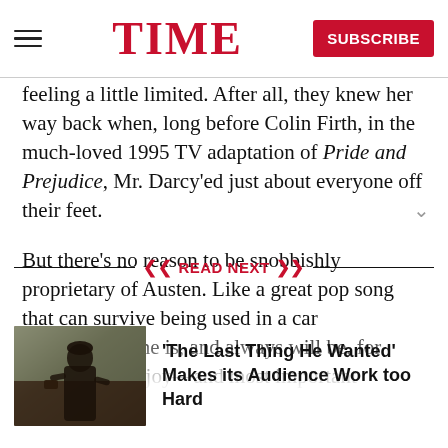TIME
feeling a little limited. After all, they knew her way back when, long before Colin Firth, in the much-loved 1995 TV adaptation of Pride and Prejudice, Mr. Darcy'ed just about everyone off their feet.
But there's no reason to be snobbishly proprietary of Austen. Like a great pop song that can survive being used in a car commercial, she is, and always will be, for everyone to enjoy—and most important
READ NEXT
[Figure (photo): A person standing outdoors, likely a still from the film 'The Last Thing He Wanted']
'The Last Thing He Wanted' Makes its Audience Work too Hard